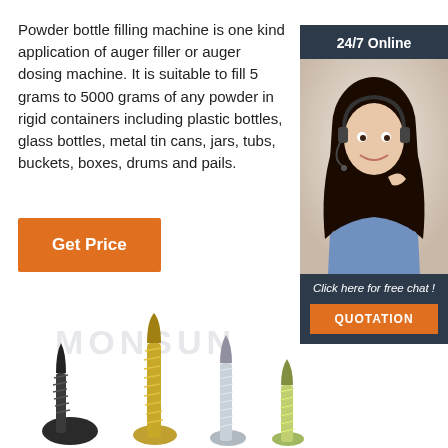Powder bottle filling machine is one kind application of auger filler or auger dosing machine. It is suitable to fill 5 grams to 5000 grams of any powder in rigid containers including plastic bottles, glass bottles, metal tin cans, jars, tubs, buckets, boxes, drums and pails.
[Figure (other): Orange 'Get Price' button]
[Figure (other): 24/7 Online chat sidebar with photo of woman wearing headset, 'Click here for free chat!' text, and orange QUOTATION button]
[Figure (photo): Photo of various screws and fasteners with MONSUN watermark text in background]